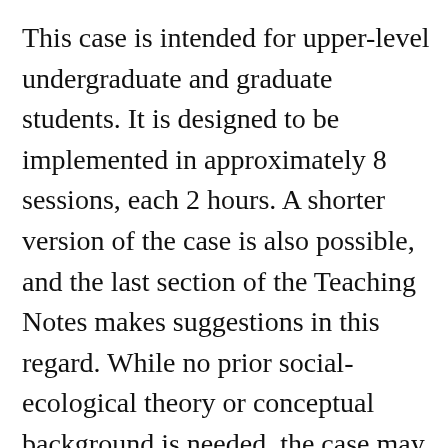This case is intended for upper-level undergraduate and graduate students. It is designed to be implemented in approximately 8 sessions, each 2 hours. A shorter version of the case is also possible, and the last section of the Teaching Notes makes suggestions in this regard. While no prior social-ecological theory or conceptual background is needed, the case may be most useful when integrated into a course addressing human-environment interactions, social-ecological concepts (e.g., resilience, adaptation, complexity), or sustainability science more broadly. The case uses the issue of water scarcity and flooding in Mexico City as an entry point into understanding the interaction of biophysical